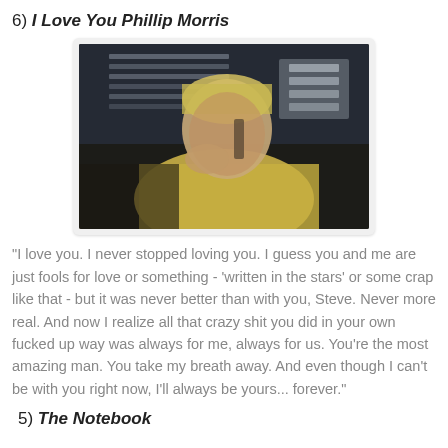6) I Love You Phillip Morris
[Figure (photo): A man with blonde hair, wearing a yellow shirt, holding a phone to his ear, looking downward in a contemplative pose. Background shows blurred shelving/office environment with blue tones.]
"I love you. I never stopped loving you. I guess you and me are just fools for love or something - 'written in the stars' or some crap like that - but it was never better than with you, Steve. Never more real. And now I realize all that crazy shit you did in your own fucked up way was always for me, always for us. You're the most amazing man. You take my breath away. And even though I can't be with you right now, I'll always be yours... forever."
5) The Notebook